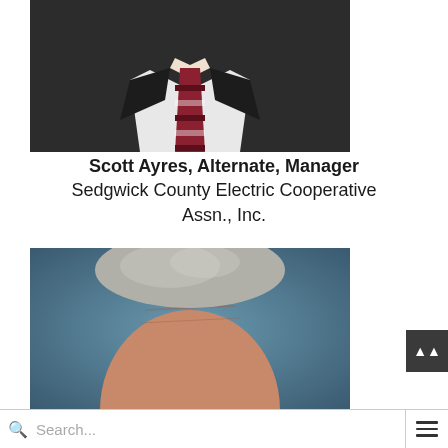[Figure (photo): Partial photo of a man in a dark suit with a dark red/burgundy patterned tie, white shirt, cropped at chest level — headshot of Scott Ayres]
Scott Ayres, Alternate, Manager
Sedgwick County Electric Cooperative Assn., Inc.
[Figure (photo): Partial photo of a gray-haired man with a reddish complexion, cropped near the forehead/top of head, background blurred blue-green — second person portrait]
Search...